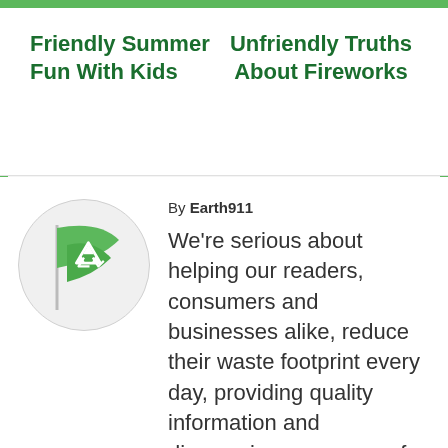Friendly Summer Fun With Kids   Unfriendly Truths About Fireworks
[Figure (logo): Earth911 logo: green recycling flag with white recycling triangle symbol inside a white circle]
By Earth911
We're serious about helping our readers, consumers and businesses alike, reduce their waste footprint every day, providing quality information and discovering new ways of being even more sustainable